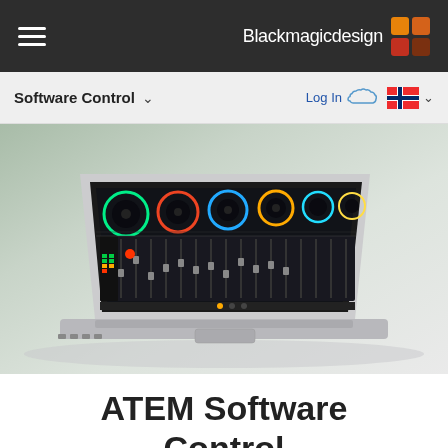Blackmagicdesign
Software Control
[Figure (photo): Laptop computer displaying ATEM Software Control interface with color correction wheels and audio mixer on screen, shown at an angle on a light green/grey background]
ATEM Software Control